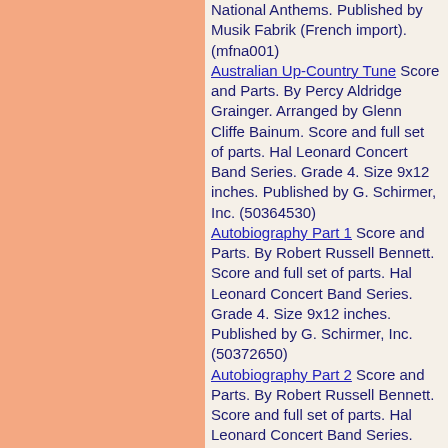National Anthems. Published by Musik Fabrik (French import). (mfna001)
Australian Up-Country Tune Score and Parts. By Percy Aldridge Grainger. Arranged by Glenn Cliffe Bainum. Score and full set of parts. Hal Leonard Concert Band Series. Grade 4. Size 9x12 inches. Published by G. Schirmer, Inc. (50364530)
Autobiography Part 1 Score and Parts. By Robert Russell Bennett. Score and full set of parts. Hal Leonard Concert Band Series. Grade 4. Size 9x12 inches. Published by G. Schirmer, Inc. (50372650)
Autobiography Part 2 Score and Parts. By Robert Russell Bennett. Score and full set of parts. Hal Leonard Concert Band Series. Grade 4. Size 9x12 inches. Published by G. Schirmer, Inc. (50372980)
Automatic Chromatic Lots of Fun Warmin' Up Blues By Andy Clark. Warmups. Young concert band. Command. Level: Grade 2.5. Full score and set of parts. Composed 1995. Published by...